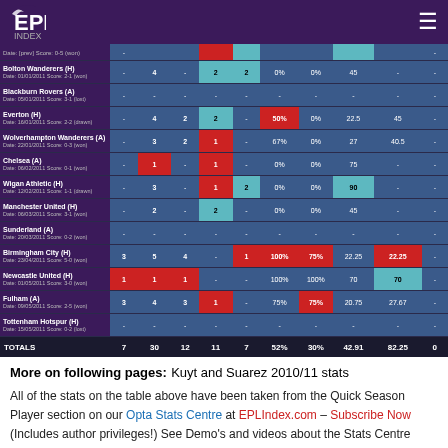EPL Index
| Match |  |  |  |  |  |  |  |  |  |  |
| --- | --- | --- | --- | --- | --- | --- | --- | --- | --- | --- |
| Bolton Wanderers (H) Date: 01/01/2011 Score: 2-1 (won) | - | 4 | - | 2 | 2 | 0% | 0% | 45 | - | - |
| Blackburn Rovers (A) Date: 05/01/2011 Score: 3-1 (lost) | - | - | - | - | - | - | - | - | - | - |
| Everton (H) Date: 16/01/2011 Score: 2-2 (drawn) | - | 4 | 2 | 2 | - | 50% | 0% | 22.5 | 45 | - |
| Wolverhampton Wanderers (A) Date: 22/01/2011 Score: 0-3 (won) | - | 3 | 2 | 1 | - | 67% | 0% | 27 | 40.5 | - |
| Chelsea (A) Date: 06/02/2011 Score: 0-1 (won) | - | 1 | - | 1 | - | 0% | 0% | 75 | - | - |
| Wigan Athletic (H) Date: 12/02/2011 Score: 1-1 (drawn) | - | 3 | - | 1 | 2 | 0% | 0% | 90 | - | - |
| Manchester United (H) Date: 06/03/2011 Score: 3-1 (won) | - | 2 | - | 2 | - | 0% | 0% | 45 | - | - |
| Sunderland (A) Date: 20/03/2011 Score: 0-2 (won) | - | - | - | - | - | - | - | - | - | - |
| Birmingham City (H) Date: 23/04/2011 Score: 5-0 (won) | 3 | 5 | 4 | - | 1 | 100% | 75% | 22.25 | 22.25 | - |
| Newcastle United (H) Date: 01/05/2011 Score: 3-0 (won) | 1 | 1 | 1 | - | - | 100% | 100% | 70 | 70 | - |
| Fulham (A) Date: 09/05/2011 Score: 2-5 (won) | 3 | 4 | 3 | 1 | - | 75% | 75% | 20.75 | 27.67 | - |
| Tottenham Hotspur (H) Date: 15/05/2011 Score: 0-2 (lost) | - | - | - | - | - | - | - | - | - | - |
| TOTALS | 7 | 30 | 12 | 11 | 7 | 52% | 30% | 42.91 | 82.25 | 0 |
More on following pages: Kuyt and Suarez 2010/11 stats
All of the stats on the table above have been taken from the Quick Season Player section on our Opta Stats Centre at EPLIndex.com – Subscribe Now (Includes author privileges!) See Demo's and videos about the Stats Centre